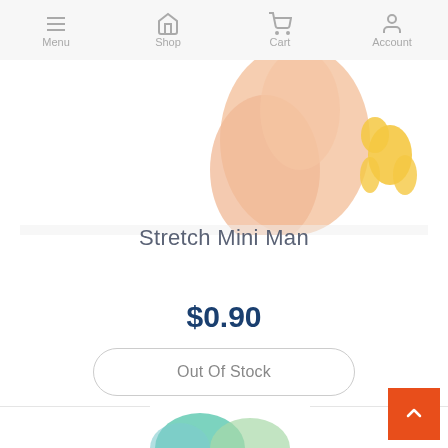Menu | Shop | Cart | Account
[Figure (photo): Partial product photo showing a hand holding a stretch mini man toy figure, with a yellow figure visible in the background, cropped at the top of the page]
Stretch Mini Man
$0.90
Out Of Stock
[Figure (photo): Partial product photo at bottom of page showing colorful toys (green and blue), partially cropped]